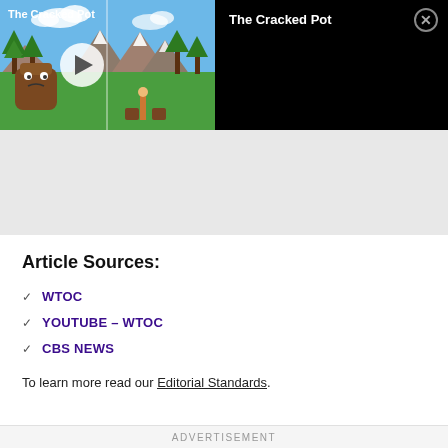[Figure (screenshot): Video player showing 'The Cracked Pot' animated video — left half shows cartoon scene with green landscape and a sad brown pot character, with a white play button circle. Right half shows black panel with title 'The Cracked Pot' and a close (X) button.]
[Figure (other): Gray advertisement placeholder area below the video player.]
Article Sources:
WTOC
YOUTUBE – WTOC
CBS NEWS
To learn more read our Editorial Standards.
ADVERTISEMENT